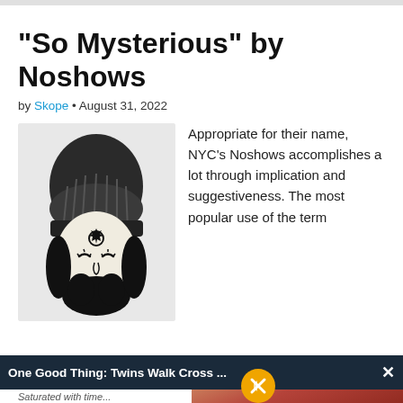“So Mysterious” by Noshows
by Skope • August 31, 2022
[Figure (illustration): Black and white illustration of a bearded person wearing a knit beanie hat, with stylized eyes and a gear/star symbol on the forehead]
Appropriate for their name, NYC’s Noshows accomplishes a lot through implication and suggestiveness. The most popular use of the term
One Good Thing: Twins Walk Cross ...
[Figure (photo): Photo of hands holding a red heart shape, likely part of a news article overlay]
Saturated with time ... i ... n ... c ... Dine Drive Deli
[Figure (logo): Burger King logo]